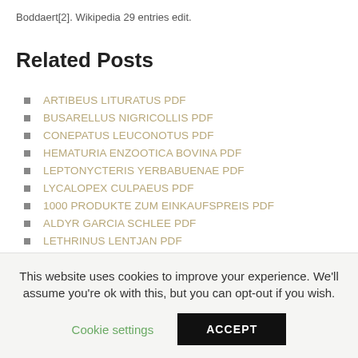Boddaert[2]. Wikipedia 29 entries edit.
Related Posts
ARTIBEUS LITURATUS PDF
BUSARELLUS NIGRICOLLIS PDF
CONEPATUS LEUCONOTUS PDF
HEMATURIA ENZOOTICA BOVINA PDF
LEPTONYCTERIS YERBABUENAE PDF
LYCALOPEX CULPAEUS PDF
1000 PRODUKTE ZUM EINKAUFSPREIS PDF
ALDYR GARCIA SCHLEE PDF
LETHRINUS LENTJAN PDF
This website uses cookies to improve your experience. We'll assume you're ok with this, but you can opt-out if you wish.
Cookie settings  ACCEPT